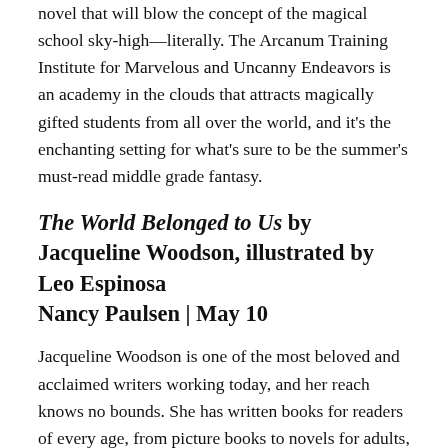novel that will blow the concept of the magical school sky-high—literally. The Arcanum Training Institute for Marvelous and Uncanny Endeavors is an academy in the clouds that attracts magically gifted students from all over the world, and it's the enchanting setting for what's sure to be the summer's must-read middle grade fantasy.
The World Belonged to Us by Jacqueline Woodson, illustrated by Leo Espinosa
Nancy Paulsen | May 10
Jacqueline Woodson is one of the most beloved and acclaimed writers working today, and her reach knows no bounds. She has written books for readers of every age, from picture books to novels for adults, and has served as our National Ambassador for Children's Literature. In her picture books, Woodson's prose is often paired with